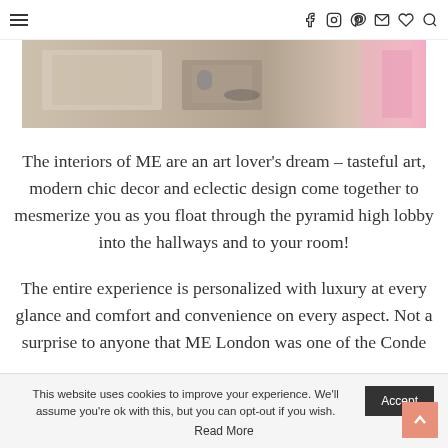≡  [social icons: facebook, instagram, pinterest, mail, heart, search]
[Figure (photo): Interior photo showing a hotel room or lounge area with light wooden tones, decorative items on a surface, and a pink/magenta accent on the right side]
The interiors of ME are an art lover's dream – tasteful art, modern chic decor and eclectic design come together to mesmerize you as you float through the pyramid high lobby into the hallways and to your room!
The entire experience is personalized with luxury at every glance and comfort and convenience on every aspect. Not a surprise to anyone that ME London was one of the Conde
This website uses cookies to improve your experience. We'll assume you're ok with this, but you can opt-out if you wish.
Accept
Read More